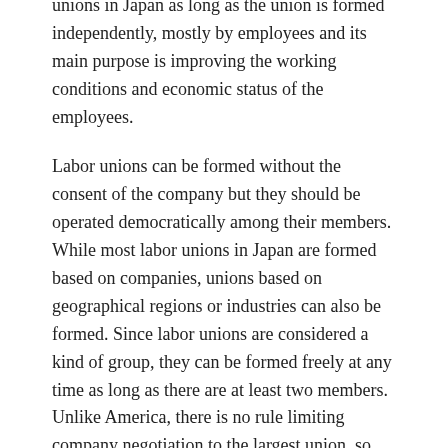unions in Japan as long as the union is formed independently, mostly by employees and its main purpose is improving the working conditions and economic status of the employees.
Labor unions can be formed without the consent of the company but they should be operated democratically among their members. While most labor unions in Japan are formed based on companies, unions based on geographical regions or industries can also be formed. Since labor unions are considered a kind of group, they can be formed freely at any time as long as there are at least two members. Unlike America, there is no rule limiting company negotiation to the largest union, so